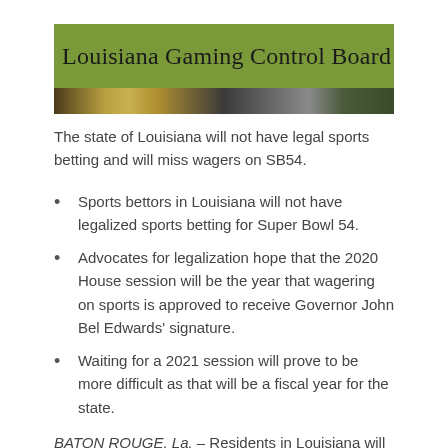[Figure (illustration): Louisiana Gaming Control Board banner with olive-green background strip and title text over a photo strip showing gaming-related imagery]
The state of Louisiana will not have legal sports betting and will miss wagers on SB54.
Sports bettors in Louisiana will not have legalized sports betting for Super Bowl 54.
Advocates for legalization hope that the 2020 House session will be the year that wagering on sports is approved to receive Governor John Bel Edwards' signature.
Waiting for a 2021 session will prove to be more difficult as that will be a fiscal year for the state.
BATON ROUGE, La. – Residents in Louisiana will be able to enjoy viewing Super Bowl LIV but wagering on